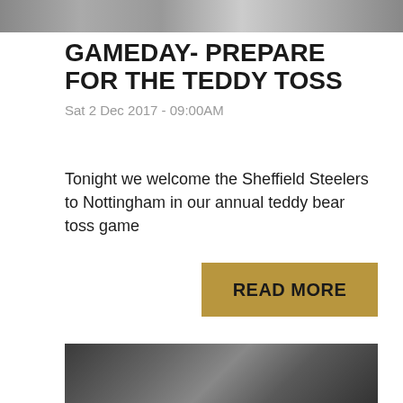[Figure (photo): Top banner photo of hockey players]
GAMEDAY- PREPARE FOR THE TEDDY TOSS
Sat 2 Dec 2017 - 09:00AM
Tonight we welcome the Sheffield Steelers to Nottingham in our annual teddy bear toss game
READ MORE
[Figure (photo): Hockey player holding up a trading card showing himself in uniform, standing in a locker room]